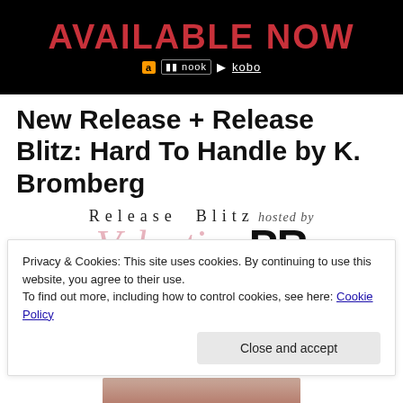[Figure (illustration): Black banner with red 'AVAILABLE NOW' text and retailer icons: Amazon, Barnes and Noble nook, Google Play, Kobo]
New Release + Release Blitz: Hard To Handle by K. Bromberg
[Figure (logo): Release Blitz hosted by Valentine PR logo with pink script 'Valentine' and bold black 'PR']
Privacy & Cookies: This site uses cookies. By continuing to use this website, you agree to their use.
To find out more, including how to control cookies, see here: Cookie Policy
Close and accept